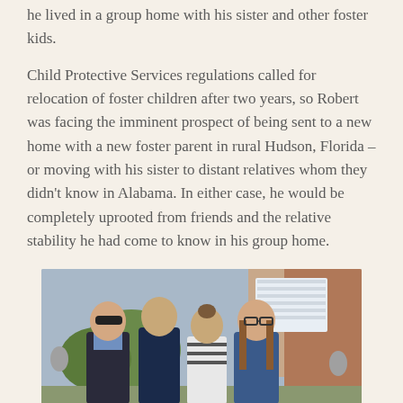he lived in a group home with his sister and other foster kids.
Child Protective Services regulations called for relocation of foster children after two years, so Robert was facing the imminent prospect of being sent to a new home with a new foster parent in rural Hudson, Florida – or moving with his sister to distant relatives whom they didn't know in Alabama. In either case, he would be completely uprooted from friends and the relative stability he had come to know in his group home.
[Figure (photo): A group of four people posing together outdoors in front of a brick building with stairs. From left: a bald man wearing sunglasses and a dark blazer over a light blue shirt; a teenage boy in a dark navy polo shirt; a young girl in a striped shirt; and a teenage girl with long hair wearing glasses and a blue top.]